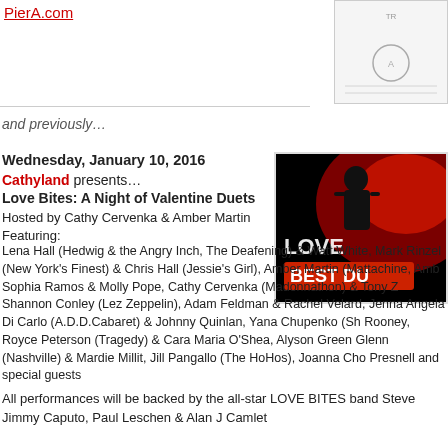PierA.com
[Figure (photo): Award certificate thumbnail in top right corner]
and previously…
Wednesday, January 10, 2016
Cathyland presents…
Love Bites: A Night of Valentine Duets
Hosted by Cathy Cervenka & Amber Martin
Featuring:
[Figure (photo): Love Bites Best Duets promotional image with silhouette of performers against red lighting]
Lena Hall (Hedwig & the Angry Inch, The Deafening) & Watt White, Mark Rinzel (New York's Finest) & Chris Hall (Jessie's Girl), Amber Martin (Mattachine, Amb Sophia Ramos & Molly Pope, Cathy Cervenka (Madonnathon) & Tony Z Shannon Conley (Lez Zeppelin), Adam Feldman & Rachel Velard, Jenna Angela Di Carlo (A.D.D.Cabaret) & Johnny Quinlan, Yana Chupenko (Sh Rooney, Royce Peterson (Tragedy) & Cara Maria O'Shea, Alyson Green Glenn (Nashville) & Mardie Millit, Jill Pangallo (The HoHos), Joanna Cho Presnell and special guests
All performances will be backed by the all-star LOVE BITES band Steve Jimmy Caputo, Paul Leschen & Alan J Camlet